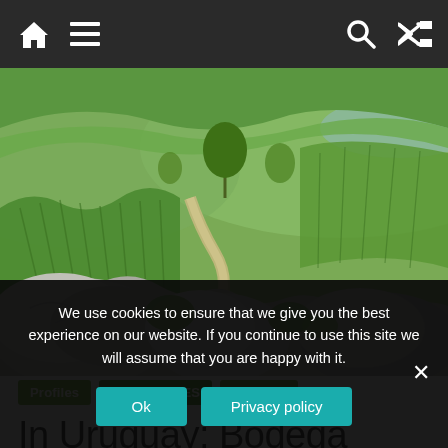Navigation bar with home, menu, search, and shuffle icons
[Figure (photo): Aerial landscape photograph of vineyard rows and rocky terrain in Uruguay, with winding dirt path and lush green hills in the background]
Profiles
TOP STORIES
Uruguay
In Uruguay: Bodega Garzón
We use cookies to ensure that we give you the best experience on our website. If you continue to use this site we will assume that you are happy with it.
Ok
Privacy policy